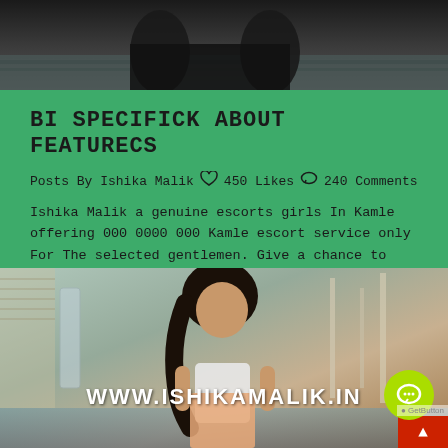[Figure (photo): Top portion of photo showing person sitting on bed, dark toned image, only lower body visible]
BI SPECIFICK ABOUT FEATURECS
Posts By Ishika Malik  ♡  450 Likes  ○  240 Comments
Ishika Malik a genuine escorts girls In Kamle offering 000 0000 000 Kamle escort service only For The selected gentlemen. Give a chance to proov you that am the best Kamle escorts Service.
[Figure (photo): Photo of young woman with long dark hair sitting indoors, with watermark text www.ishikamalik.in overlaid, and a green chat button in the bottom right corner]